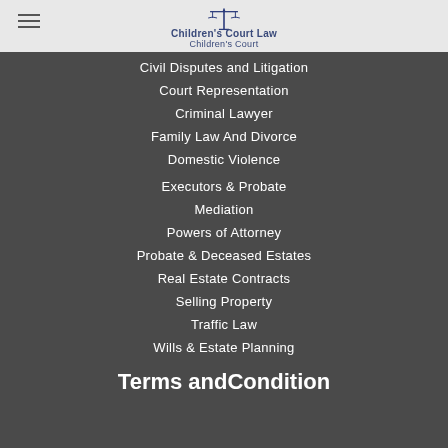Children's Court Law - Children's Court
Civil Disputes and Litigation
Court Representation
Criminal Lawyer
Family Law And Divorce
Domestic Violence
Executors & Probate
Mediation
Powers of Attorney
Probate & Deceased Estates
Real Estate Contracts
Selling Property
Traffic Law
Wills & Estate Planning
Terms andCondition